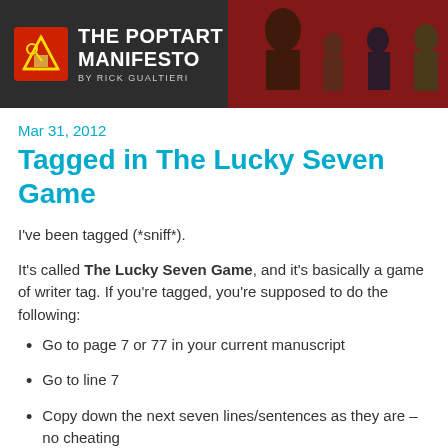[Figure (logo): The Poptart Manifesto blog header banner with logo icon and character figures on dark background]
Mar 31, 2012
Tagged in The Lucky Seven Game
I've been tagged (*sniff*).
It's called The Lucky Seven Game, and it's basically a game of writer tag. If you're tagged, you're supposed to do the following:
Go to page 7 or 77 in your current manuscript
Go to line 7
Copy down the next seven lines/sentences as they are – no cheating
Tag 7 other authors